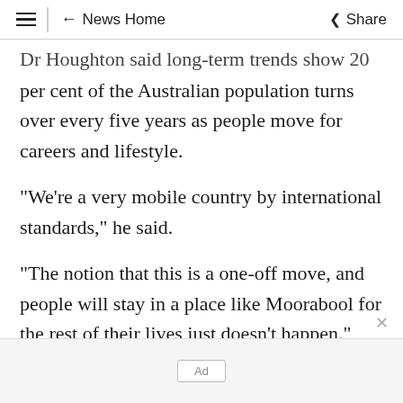≡ | ← News Home   Share
Dr Houghton said long-term trends show 20 per cent of the Australian population turns over every five years as people move for careers and lifestyle.
"We're a very mobile country by international standards," he said.
"The notion that this is a one-off move, and people will stay in a place like Moorabool for the rest of their lives just doesn't happen."
[Figure (other): Advertisement placeholder (Ad)]